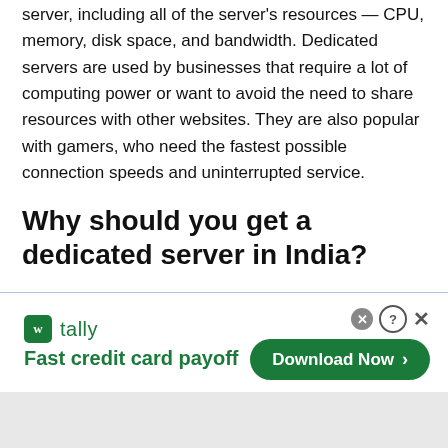server, including all of the server's resources — CPU, memory, disk space, and bandwidth. Dedicated servers are used by businesses that require a lot of computing power or want to avoid the need to share resources with other websites. They are also popular with gamers, who need the fastest possible connection speeds and uninterrupted service.
Why should you get a dedicated server in India?
There are many reasons to get a dedicated server in India. Here are some of the most important ones:
[Figure (other): Advertisement banner for Tally app — Fast credit card payoff, with a Download Now button]